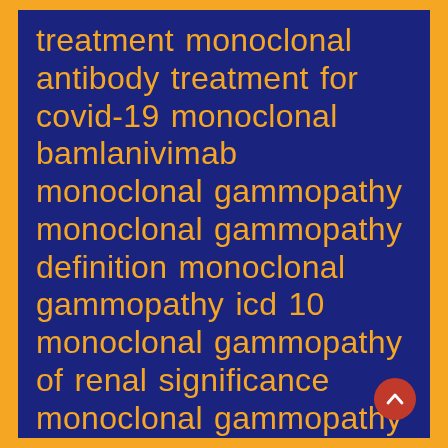treatment monoclonal antibody treatment for covid-19 monoclonal bamlanivimab monoclonal gammopathy monoclonal gammopathy definition monoclonal gammopathy icd 10 monoclonal gammopathy of renal significance monoclonal gammopathy of unknown significance monoclonal infusion
[Figure (other): A red circular scroll-to-top button with a caret/chevron up icon, positioned in the bottom-right corner of the page.]